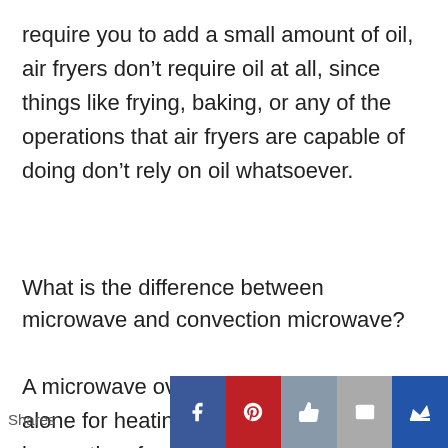require you to add a small amount of oil, air fryers don't require oil at all, since things like frying, baking, or any of the operations that air fryers are capable of doing don't rely on oil whatsoever.
What is the difference between microwave and convection microwave?
A microwave oven utilises microwaves alone for heating the food, so it takes a longer time for the food to be cooked. A convection oven's
Shares [Facebook] [Pinterest] [Like] [Email] [Crown]